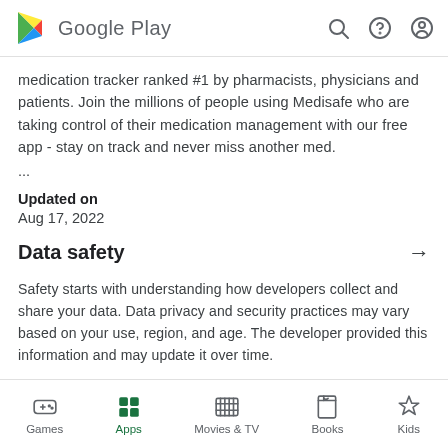Google Play
medication tracker ranked #1 by pharmacists, physicians and patients. Join the millions of people using Medisafe who are taking control of their medication management with our free app - stay on track and never miss another med.
...
Updated on
Aug 17, 2022
Data safety →
Safety starts with understanding how developers collect and share your data. Data privacy and security practices may vary based on your use, region, and age. The developer provided this information and may update it over time.
Games | Apps | Movies & TV | Books | Kids